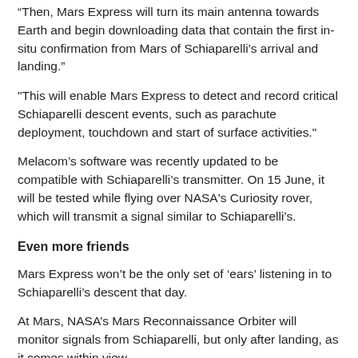“Then, Mars Express will turn its main antenna towards Earth and begin downloading data that contain the first in-situ confirmation from Mars of Schiaparelli’s arrival and landing.”
"This will enable Mars Express to detect and record critical Schiaparelli descent events, such as parachute deployment, touchdown and start of surface activities."
Melacom’s software was recently updated to be compatible with Schiaparelli’s transmitter. On 15 June, it will be tested while flying over NASA's Curiosity rover, which will transmit a signal similar to Schiaparelli’s.
Even more friends
Mars Express won’t be the only set of ‘ears’ listening in to Schiaparelli’s descent that day.
At Mars, NASA’s Mars Reconnaissance Orbiter will monitor signals from Schiaparelli, but only after landing, as it comes within view.